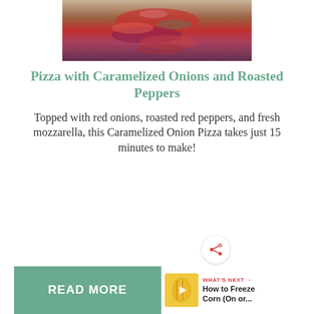[Figure (photo): Close-up photo of pizza toppings including red onions, roasted red peppers and other vegetables]
Pizza with Caramelized Onions and Roasted Peppers
Topped with red onions, roasted red peppers, and fresh mozzarella, this Caramelized Onion Pizza takes just 15 minutes to make!
READ MORE
WHAT'S NEXT → How to Freeze Corn (On or...